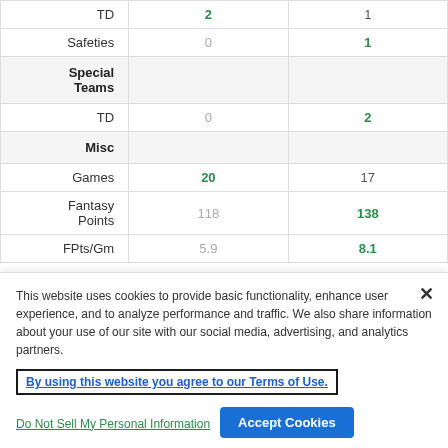|  | Col1 | Col2 |
| --- | --- | --- |
| TD | 2 | 1 |
| Safeties | 0 | 1 |
| Special Teams |  |  |
| TD | 0 | 2 |
| Misc |  |  |
| Games | 20 | 17 |
| Fantasy Points | 118 | 138 |
| FPts/Gm | 5.9 | 8.1 |
This website uses cookies to provide basic functionality, enhance user experience, and to analyze performance and traffic. We also share information about your use of our site with our social media, advertising, and analytics partners.
By using this website you agree to our Terms of Use.
Do Not Sell My Personal Information
Accept Cookies